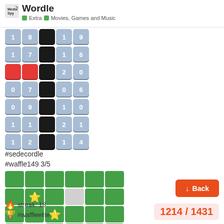Media Spy — Wordle — Extra — Movies, Games and Music
[Figure (infographic): Sedecordle score grid with blue tiles showing numbers (18,19),(17,16),(red,20),(07,06),(09,10),(11,21),(12,14) separated by black tiles]
#sedecordle
#waffle149 3/5
[Figure (infographic): Waffle game grid 5 rows of green tiles with star emojis and some gray tiles]
🔥 streak: 18
🏆 #waffleelite
↓ Back
1214 / 1431